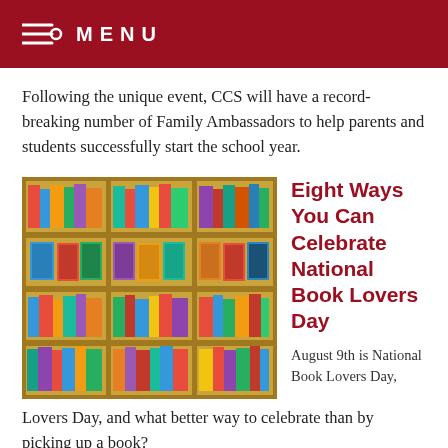MENU
Following the unique event, CCS will have a record-breaking number of Family Ambassadors to help parents and students successfully start the school year.
[Figure (photo): Photo of a school library bookshelf with colorful children's books arranged on multiple shelves in wooden cubby-style units.]
Eight Ways You Can Celebrate National Book Lovers Day
August 9th is National Book Lovers Day, and what better way to celebrate than by picking up a book?